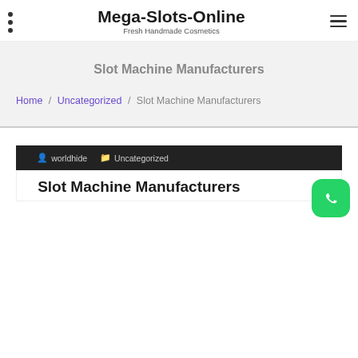Mega-Slots-Online
Fresh Handmade Cosmetics
Slot Machine Manufacturers
Home / Uncategorized / Slot Machine Manufacturers
worldhide  Uncategorized
Slot Machine Manufacturers